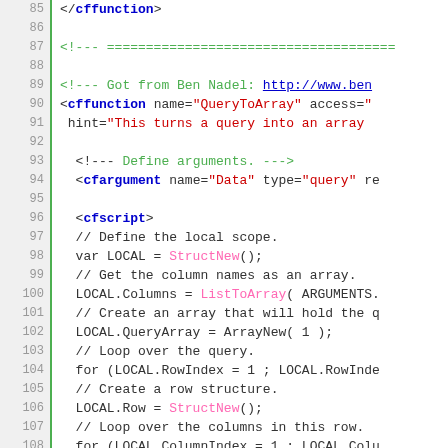[Figure (screenshot): Code editor screenshot showing ColdFusion/CFML code with line numbers 85-113. Lines show cffunction closing tag, comment separator, QueryToArray function definition with cfargument and cfscript, including ColdFusion script code for converting a query to an array using StructNew, ListToArray, ArrayNew, and loop constructs. Line numbers displayed in gray gutter on left with green vertical border.]